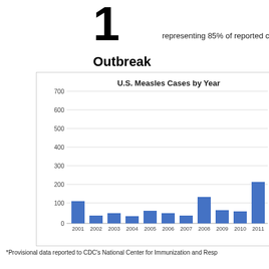1
representing 85% of reported cases this y...
Outbreak
[Figure (bar-chart): U.S. Measles Cases by Year]
*Provisional data reported to CDC's National Center for Immunization and Resp...